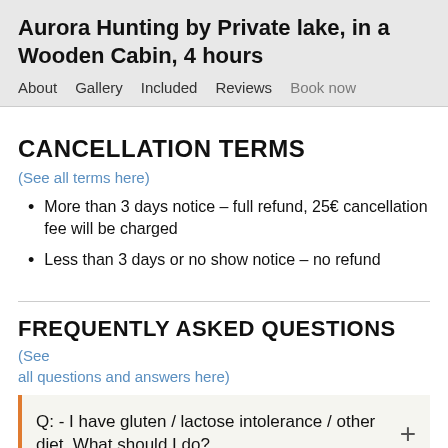Aurora Hunting by Private lake, in a Wooden Cabin, 4 hours
About   Gallery   Included   Reviews   Book now
CANCELLATION TERMS (See all terms here)
More than 3 days notice – full refund, 25€ cancellation fee will be charged
Less than 3 days or no show notice – no refund
FREQUENTLY ASKED QUESTIONS (See all questions and answers here)
Q:  - I have gluten / lactose intolerance / other diet. What should I do?